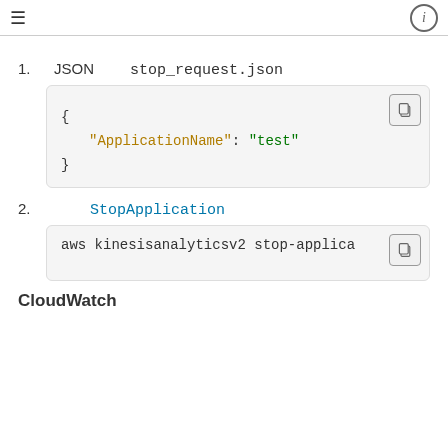≡  ⓘ
1. JSON  stop_request.json
{
    "ApplicationName": "test"
}
2. StopApplication
aws kinesisanalyticsv2 stop-applica...
CloudWatch